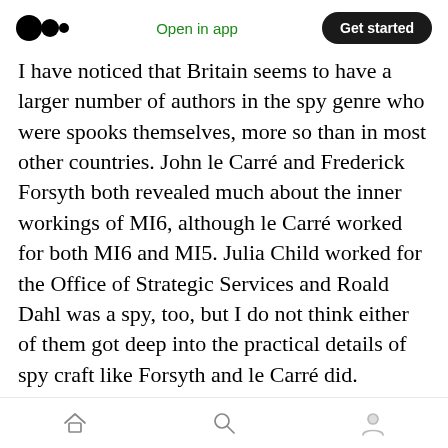Medium logo | Open in app | Get started
I have noticed that Britain seems to have a larger number of authors in the spy genre who were spooks themselves, more so than in most other countries. John le Carré and Frederick Forsyth both revealed much about the inner workings of MI6, although le Carré worked for both MI6 and MI5. Julia Child worked for the Office of Strategic Services and Roald Dahl was a spy, too, but I do not think either of them got deep into the practical details of spy craft like Forsyth and le Carré did.
I place Rimington right up there alongside
Home | Search | Profile